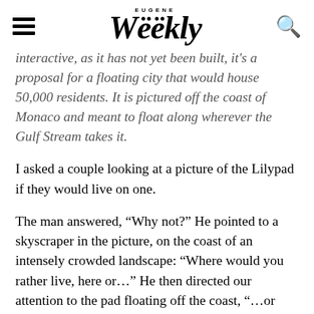EUGENE Weekly
interactive, as it has not yet been built, it's a proposal for a floating city that would house 50,000 residents. It is pictured off the coast of Monaco and meant to float along wherever the Gulf Stream takes it.
I asked a couple looking at a picture of the Lilypad if they would live on one.
The man answered, “Why not?” He pointed to a skyscraper in the picture, on the coast of an intensely crowded landscape: “Where would you rather live, here or…” He then directed our attention to the pad floating off the coast, “…or